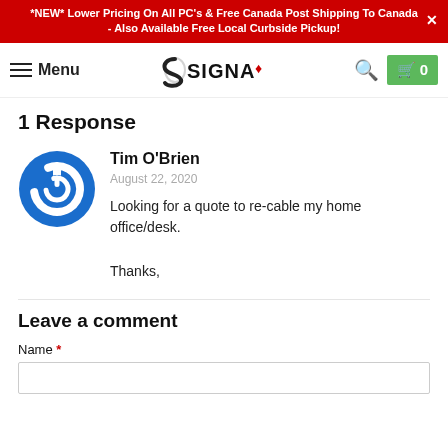*NEW* Lower Pricing On All PC's & Free Canada Post Shipping To Canada - Also Available Free Local Curbside Pickup!
[Figure (logo): Signa logo with stylized S and maple leaf]
1 Response
[Figure (illustration): Blue circular power button icon used as commenter avatar]
Tim O'Brien
August 22, 2020
Looking for a quote to re-cable my home office/desk.

Thanks,
Leave a comment
Name *